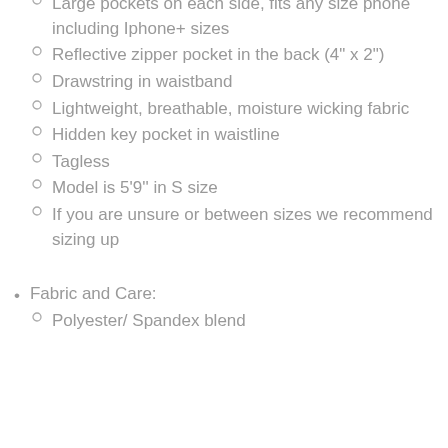Large pockets on each side, fits any size phone including Iphone+ sizes
Reflective zipper pocket in the back (4" x 2")
Drawstring in waistband
Lightweight, breathable, moisture wicking fabric
Hidden key pocket in waistline
Tagless
Model is 5'9'' in S size
If you are unsure or between sizes we recommend sizing up
Fabric and Care:
Polyester/ Spandex blend